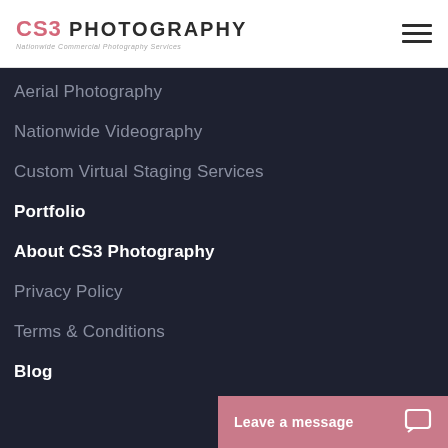CS3 PHOTOGRAPHY — Nationwide Commercial Photography Services
Aerial Photography
Nationwide Videography
Custom Virtual Staging Services
Portfolio
About CS3 Photography
Privacy Policy
Terms & Conditions
Blog
Leave a message